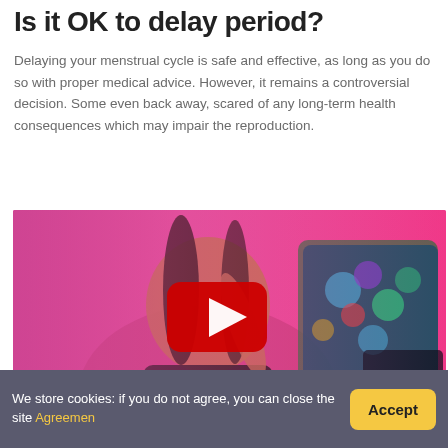Is it OK to delay period?
Delaying your menstrual cycle is safe and effective, as long as you do so with proper medical advice. However, it remains a controversial decision. Some even back away, scared of any long-term health consequences which may impair the reproduction.
[Figure (screenshot): YouTube video thumbnail showing a woman holding up colorful peacock-print underwear against a pink background, with a red YouTube play button overlay in the center.]
We store cookies: if you do not agree, you can close the site Agreemen